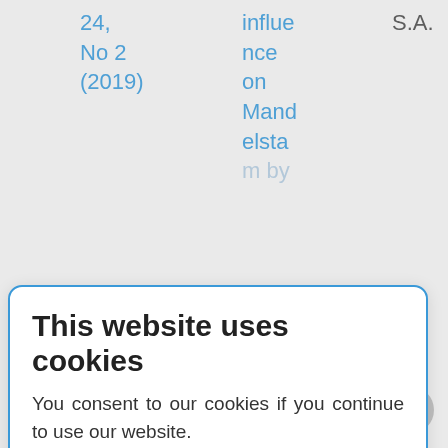| 24, No 2 (2019) | influence on Mandelstam by | S.A. |
|  | Octav |  |
|  | "The Poems on the Cognition" |  |
This website uses cookies
You consent to our cookies if you continue to use our website.
About Cookies
OK